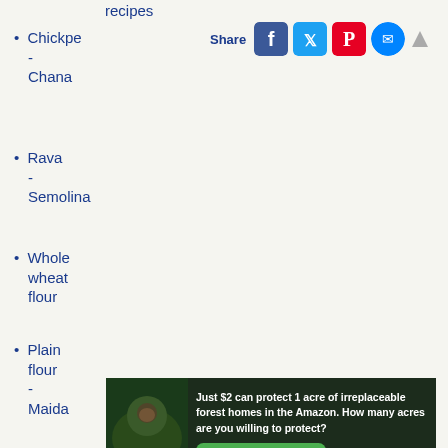recipes
Chickpe - Chana
Rava - Semolina
Whole wheat flour
Plain flour - Maida
Rice
[Figure (infographic): Social share bar with Facebook, Twitter, Pinterest, Messenger icons and Share label, plus an up arrow]
[Figure (infographic): Amazon forest protection advertisement: 'Just $2 can protect 1 acre of irreplaceable forest homes in the Amazon. How many acres are you willing to protect?' with a Protect Forests Now button and forest/orangutan imagery]